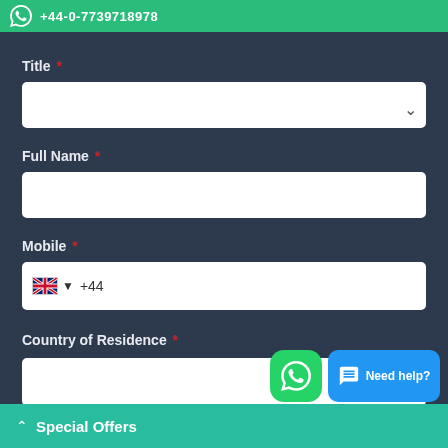+44-0-7739718978
Title *
Full Name *
Mobile *
+44
Country of Residence *
Email *
Special Offers